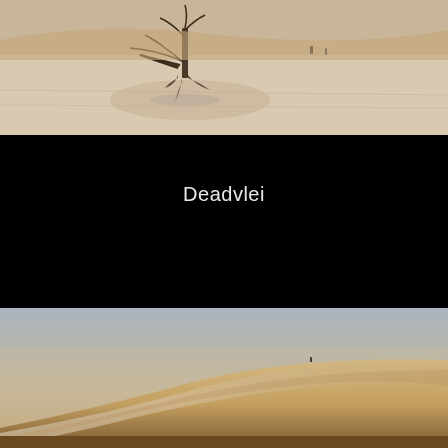[Figure (photo): Desert flatpan (Deadvlei) scene with dead tree and cracked white clay ground, people visible in background, warm sandy tones]
Deadvlei
[Figure (photo): Large sand dune with hazy sky, minimal landscape, warm golden-brown tones, tiny figure silhouette on ridge line]